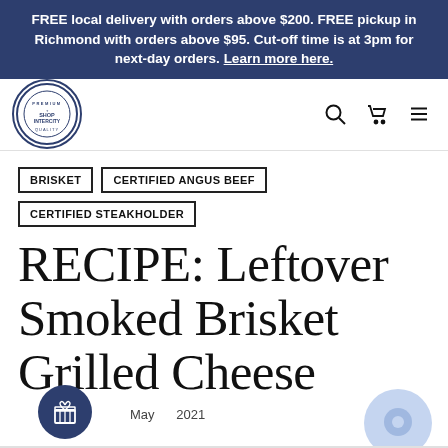FREE local delivery with orders above $200. FREE pickup in Richmond with orders above $95. Cut-off time is at 3pm for next-day orders. Learn more here.
[Figure (logo): Shop Intercity circular logo with blue border and text]
BRISKET
CERTIFIED ANGUS BEEF
CERTIFIED STEAKHOLDER
RECIPE: Leftover Smoked Brisket Grilled Cheese
May 2021